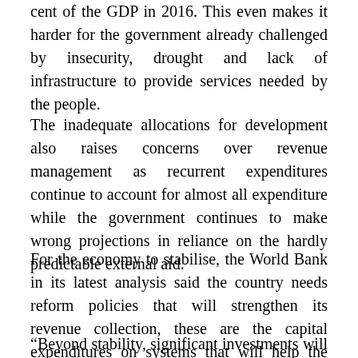cent of the GDP in 2016. This even makes it harder for the government already challenged by insecurity, drought and lack of infrastructure to provide services needed by the people.
The inadequate allocations for development also raises concerns over revenue management as recurrent expenditures continue to account for almost all expenditure while the government continues to make wrong projections in reliance on the hardly predictable external aid.
For the economy to stabilise, the World Bank in its latest analysis said the country needs reform policies that will strengthen its revenue collection, these are the capital expenditures on systems that will help the country collect and manage income efficiently.
“Beyond stability, significant investments will be